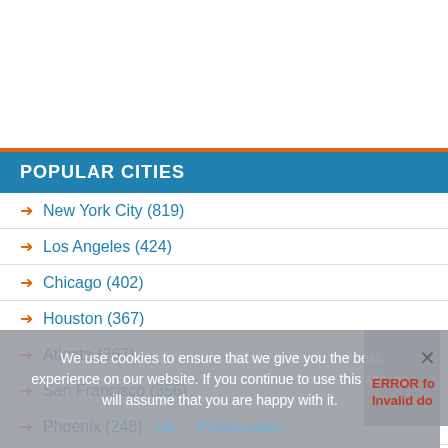POPULAR CITIES
New York City (819)
Los Angeles (424)
Chicago (402)
Houston (367)
Atlanta (367)
San Francisco (356)
Phoenix (248)
Cleveland (231)
Minneapolis (229)
We use cookies to ensure that we give you the best experience on our website. If you continue to use this site we will assume that you are happy with it.
Ok   Privacy policy
ERROR for Invalid do